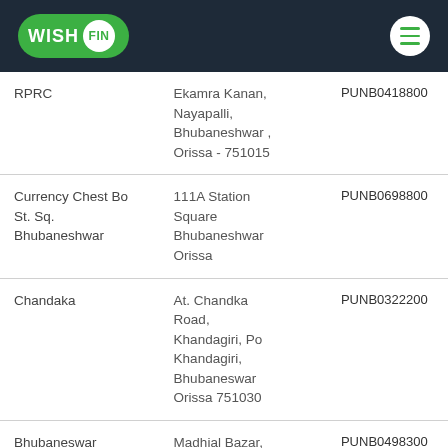WISH FIN
| Branch | Address | IFSC Code |
| --- | --- | --- |
| RPRC | Ekamra Kanan, Nayapalli, Bhubaneshwar , Orissa - 751015 | PUNB0418800 |
| Currency Chest Bo St. Sq. Bhubaneshwar | 111A Station Square Bhubaneshwar Orissa | PUNB0698800 |
| Chandaka | At. Chandka Road, Khandagiri, Po Khandagiri, Bhubaneswar Orissa 751030 | PUNB0322200 |
| Bhubaneswar Kendrapara | Madhial Bazar, Kendrapara | PUNB0498300 |